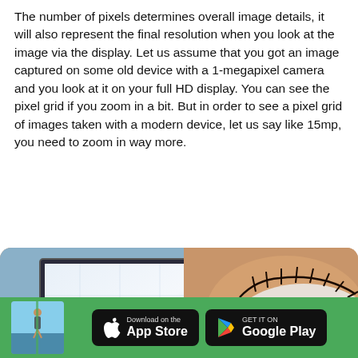The number of pixels determines overall image details, it will also represent the final resolution when you look at the image via the display. Let us assume that you got an image captured on some old device with a 1-megapixel camera and you look at it on your full HD display. You can see the pixel grid if you zoom in a bit. But in order to see a pixel grid of images taken with a modern device, let us say like 15mp, you need to zoom in way more.
[Figure (photo): A composite image showing a zoomed-in monitor/screen on the left side and a close-up of a blue human eye on the right side.]
[Figure (photo): App store footer with a thumbnail photo of a person on the left, and App Store and Google Play download buttons.]